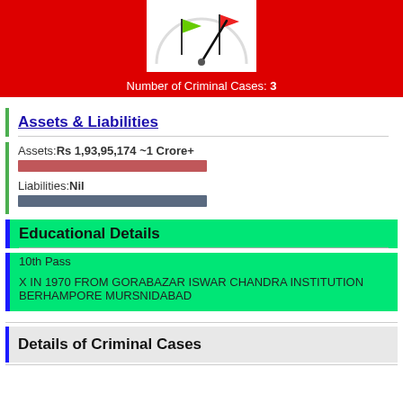[Figure (infographic): Gauge/speedometer icon with red and green arrows on white background inside a red banner. Text below reads 'Number of Criminal Cases: 3']
Assets & Liabilities
Assets: Rs 1,93,95,174 ~1 Crore+
Liabilities: Nil
Educational Details
10th Pass
X IN 1970 FROM GORABAZAR ISWAR CHANDRA INSTITUTION BERHAMPORE MURSNIDABAD
Details of Criminal Cases